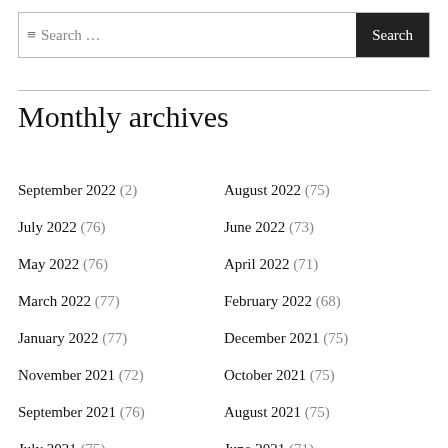Search ...
Monthly archives
September 2022 (2)
August 2022 (75)
July 2022 (76)
June 2022 (73)
May 2022 (76)
April 2022 (71)
March 2022 (77)
February 2022 (68)
January 2022 (77)
December 2021 (75)
November 2021 (72)
October 2021 (75)
September 2021 (76)
August 2021 (75)
July 2021 (75)
June 2021 (71)